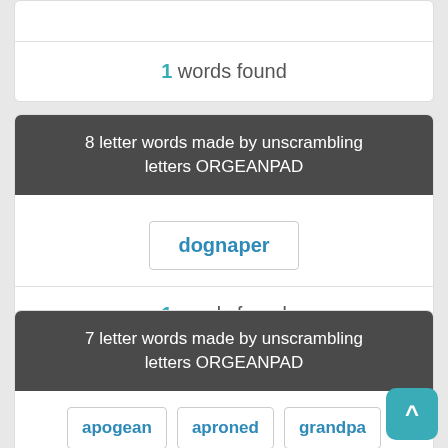1 words found
8 letter words made by unscrambling letters ORGEANPAD
dognaper
1 words found
7 letter words made by unscrambling letters ORGEANPAD
apogean
aproned
grandpa